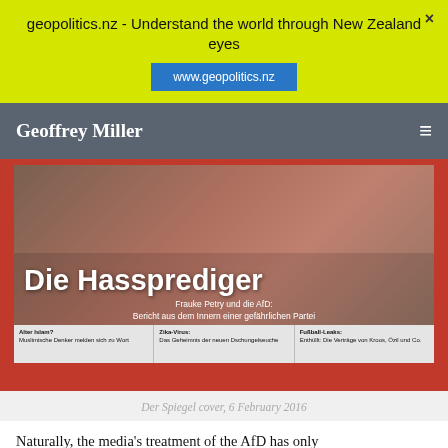geopolitics.nz - Understand the world through New Zealand eyes
www.geopolitics.nz
Geoffrey Miller
[Figure (photo): Der Spiegel magazine cover dated 6 February 2016, with a large headline 'Die Hassprediger' (The Hate Preachers), featuring Frauke Petry and the AfD. Subtitle: 'Frauke Petry und die AfD: Bericht aus dem Innern einer gefährlichen Partei'. Bottom bar includes three teasers: 'Alter Islam? Muslimische Denker melden sich zu Wort', 'Zika-Virus: Das Geheimnis der neuen Dschungelseuche', 'Fußball-Leaks: Enthüllt: Die Verträge von Kroos, Özil und Co.']
Der Spiegel cover, 6 February 2016
Naturally, the media's treatment of the AfD has only